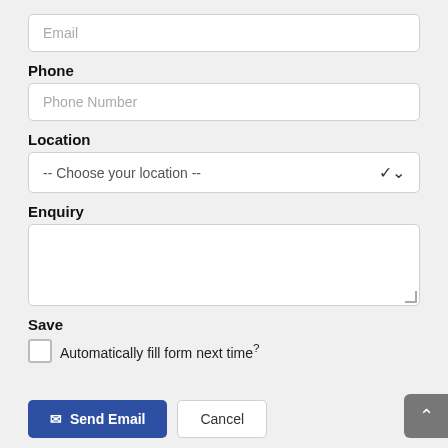Email
Phone
Phone Number
Location
-- Choose your location --
Enquiry
Save
Automatically fill form next time?
Send Email
Cancel